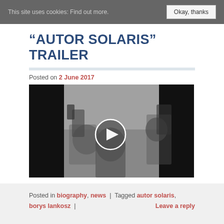This site uses cookies: Find out more. [Okay, thanks]
“AUTOR SOLARIS” TRAILER
Posted on 2 June 2017
[Figure (screenshot): Black and white video thumbnail showing two men in white lab coats working with optical/scientific equipment (microscopes or cameras), with a semi-transparent play button circle overlay in the center.]
Posted in biography, news | Tagged autor solaris, borys lankosz | Leave a reply